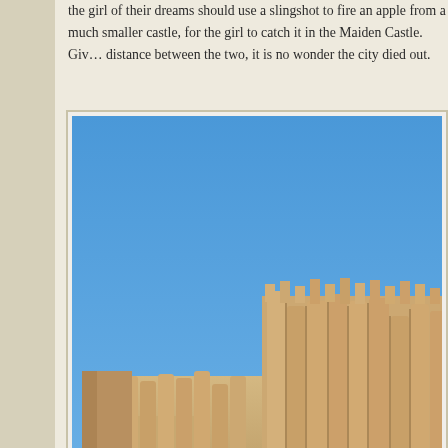the girl of their dreams should use a slingshot to fire an apple from a much smaller castle, for the girl to catch it in the Maiden Castle. Given the distance between the two, it is no wonder the city died out.
[Figure (photo): Photograph of ancient ruins — a large mud-brick fortress wall with cylindrical towers under a clear blue sky, set in a dry desert landscape.]
There are plans to restore and reconstruct this UNESCO Heritage site and we can see a number of mud bricks ready to be used.
[Figure (photo): Photograph of a flat desert landscape under a pale grey-blue sky, likely showing the ground level at the UNESCO heritage site.]